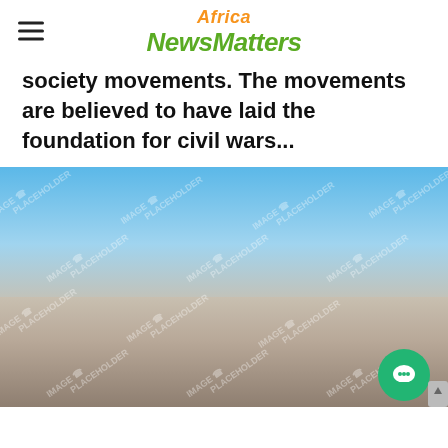Africa NewsMatters
society movements. The movements are believed to have laid the foundation for civil wars...
[Figure (photo): Placeholder image showing a blurred landscape with blue sky and brownish terrain, watermarked with repeating 'IMAGE PLACEHOLDER' text]